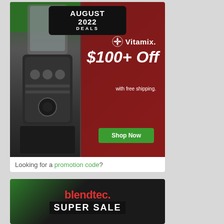[Figure (infographic): Vitamix blender promotional advertisement showing 'AUGUST 2022 DEALS' banner at top, Vitamix logo, '$100+ Off with free shipping.' text, a green 'Shop Now' button, and blender images on a red/green background.]
Looking for a promotion code?
[Figure (infographic): Blendtec blender promotional advertisement showing 'blendtec.' logo in red and 'SUPER SALE' text in white on dark/green background.]